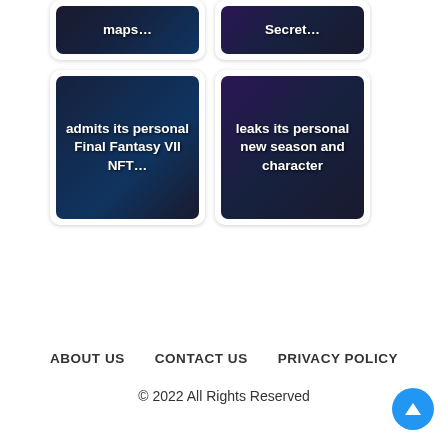[Figure (screenshot): Card with dark space-themed image and text 'maps...']
[Figure (screenshot): Card with dark image and text 'Secret...']
[Figure (screenshot): Card with dark space image and text 'admits its personal Final Fantasy VII NFT...']
[Figure (screenshot): Card with dark image and text 'leaks its personal new season and character']
ABOUT US   CONTACT US   PRIVACY POLICY
© 2022 All Rights Reserved